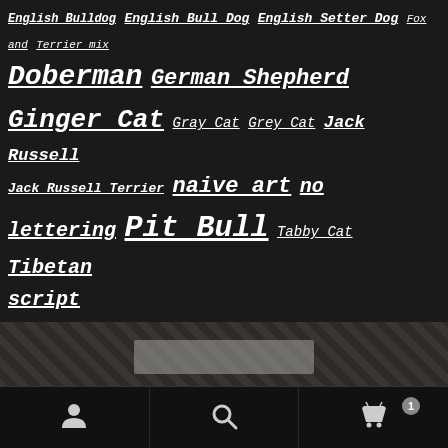Doberman German Shepherd Ginger Cat Gray Cat Grey Cat Jack Russell Jack Russell Terrier naive art no lettering Pit Bull Tabby Cat Tibetan script
[Figure (other): Dark banner area with diagonal pattern and a translucent gray rectangle overlay in the center]
Top rated products
Boxer by Hari P
$170.00
[Figure (photo): Photo of a Beware of Dog sign with Tibetan script and a painted boxer dog, text BEWARE OF DOG at bottom]
Doberman by Dilip 2
[Figure (photo): Partial thumbnail of Doberman product, black and red colors visible]
Account | Search | Cart (1)